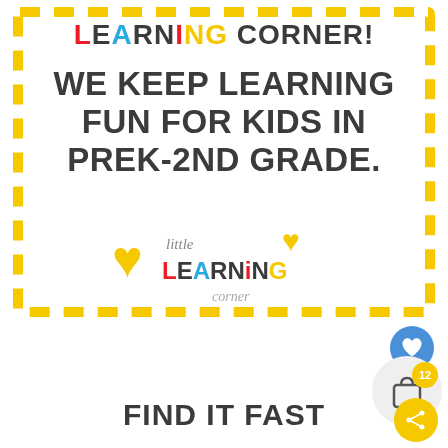LEARNING CORNER!
WE KEEP LEARNING FUN FOR KIDS IN PREK-2ND GRADE.
[Figure (logo): Little Learning Corner logo with yellow heart, colorful text spelling LEARNING and cursive 'little' and 'corner']
FIND IT FAST